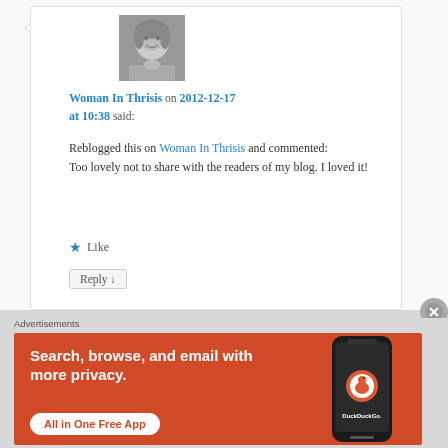[Figure (photo): Black and white avatar photo of a blonde woman smiling]
Woman In Thrisis on 2012-12-17 at 10:38 said:
Reblogged this on Woman In Thrisis and commented: Too lovely not to share with the readers of my blog. I loved it!
★ Like
Reply ↓
Advertisements
[Figure (screenshot): DuckDuckGo advertisement banner: Search, browse, and email with more privacy. All in One Free App. Shows a smartphone with DuckDuckGo app.]